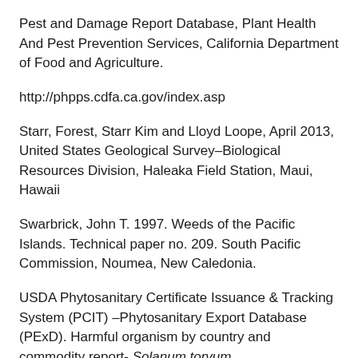Pest and Damage Report Database, Plant Health And Pest Prevention Services, California Department of Food and Agriculture.
http://phpps.cdfa.ca.gov/index.asp
Starr, Forest, Starr Kim and Lloyd Loope, April 2013, United States Geological Survey–Biological Resources Division, Haleaka Field Station, Maui, Hawaii
Swarbrick, John T. 1997. Weeds of the Pacific Islands. Technical paper no. 209. South Pacific Commission, Noumea, New Caledonia.
USDA Phytosanitary Certificate Issuance & Tracking System (PCIT) –Phytosanitary Export Database (PExD). Harmful organism by country and commodity report- Solanum torvum. https://pcit.aphis.usda.gov/PExD/faces/PExDReport.jsp